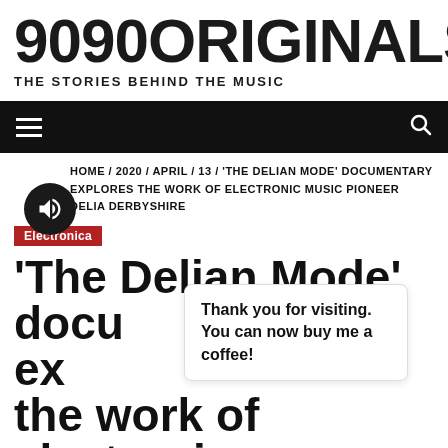9090ORIGINALS
THE STORIES BEHIND THE MUSIC
[Figure (screenshot): Black navigation bar with hamburger menu icon on left and search icon on right]
HOME / 2020 / APRIL / 13 / 'THE DELIAN MODE' DOCUMENTARY EXPLORES THE WORK OF ELECTRONIC MUSIC PIONEER DELIA DERBYSHIRE
Electronica
'The Delian Mode' documentary explores the work of electronic
Thank you for visiting. You can now buy me a coffee!